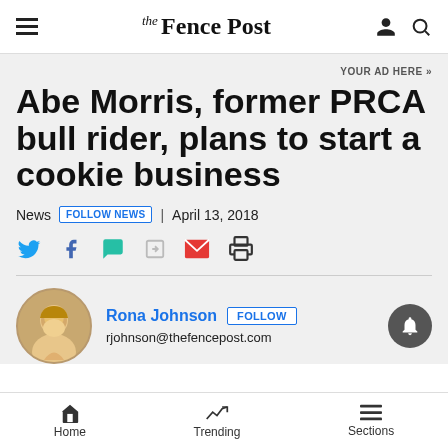the Fence Post
YOUR AD HERE »
Abe Morris, former PRCA bull rider, plans to start a cookie business
News | FOLLOW NEWS | April 13, 2018
Author: Rona Johnson | FOLLOW | rjohnson@thefencepost.com
Home | Trending | Sections